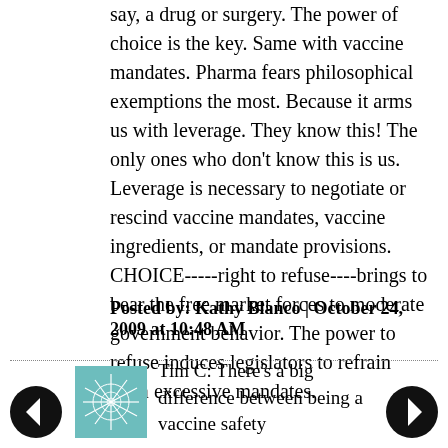say, a drug or surgery. The power of choice is the key. Same with vaccine mandates. Pharma fears philosophical exemptions the most. Because it arms us with leverage. They know this! The only ones who don't know this is us. Leverage is necessary to negotiate or rescind vaccine mandates, vaccine ingredients, or mandate provisions. CHOICE-----right to refuse----brings to bear the free market forces to moderate government behavior. The power to refuse induces legislators to refrain from excessive mandates.
Posted by: Kathy Blanco | October 24, 2009 at 10:48 AM
Tim C: There's a big difference between being a vaccine safety